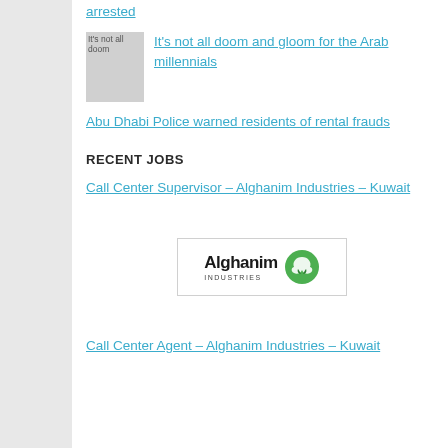arrested
It's not all doom and gloom for the Arab millennials
Abu Dhabi Police warned residents of rental frauds
RECENT JOBS
Call Center Supervisor – Alghanim Industries – Kuwait
[Figure (logo): Alghanim Industries logo with green swirl icon]
Call Center Agent – Alghanim Industries – Kuwait